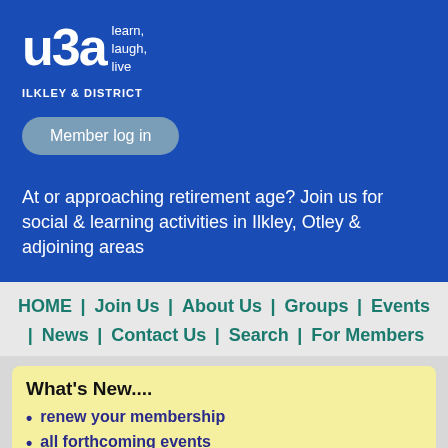[Figure (logo): u3a logo with tagline 'learn, laugh, live' and subtitle 'ILKLEY & DISTRICT' on blue background]
Member log in
At or approaching retirement age? Join us for social & learning activities in Ilkley, Otley & adjoining areas
HOME | Join Us | About Us | Groups | Events | News | Contact Us | Search | For Members
What's New....
renew your membership
all forthcoming events
latest news letter 22-16